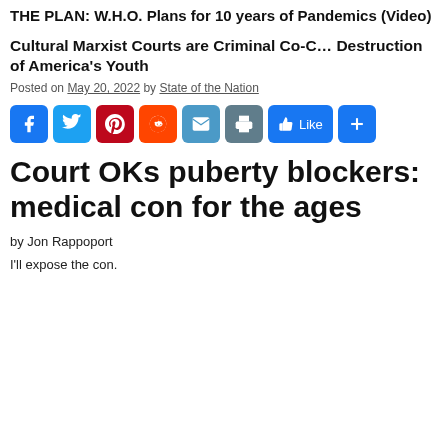THE PLAN: W.H.O. Plans for 10 years of Pandemics (Video)
Cultural Marxist Courts are Criminal Co-... Destruction of America's Youth
Posted on May 20, 2022 by State of the Nation
[Figure (infographic): Social media share buttons: Facebook, Twitter, Pinterest, Reddit, Email, Print, Like, Share]
Court OKs puberty blockers: medical con for the ages
by Jon Rappoport
I'll expose the con.